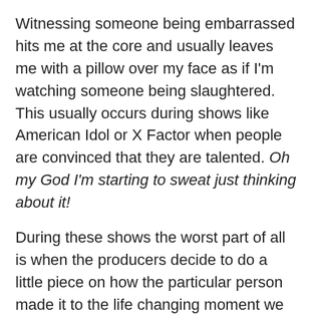Witnessing someone being embarrassed hits me at the core and usually leaves me with a pillow over my face as if I'm watching someone being slaughtered. This usually occurs during shows like American Idol or X Factor when people are convinced that they are talented. Oh my God I'm starting to sweat just thinking about it!
During these shows the worst part of all is when the producers decide to do a little piece on how the particular person made it to the life changing moment we are about to witness. It usually entails some sort of sad sac story of homelessness, tragedy or overcoming some insane obstacle, yet here they are ready to make it big. I ALWAYS take this bait and immediately start chanting…please be good, please be good.
Just as the person takes the stage I can feel my heart